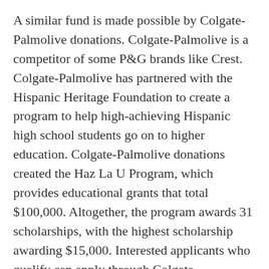A similar fund is made possible by Colgate-Palmolive donations. Colgate-Palmolive is a competitor of some P&G brands like Crest. Colgate-Palmolive has partnered with the Hispanic Heritage Foundation to create a program to help high-achieving Hispanic high school students go on to higher education. Colgate-Palmolive donations created the Haz La U Program, which provides educational grants that total $100,000. Altogether, the program awards 31 scholarships, with the highest scholarship awarding $15,000. Interested applicants who qualify can apply through Colgate-Palmolive's Haz La U Program page.